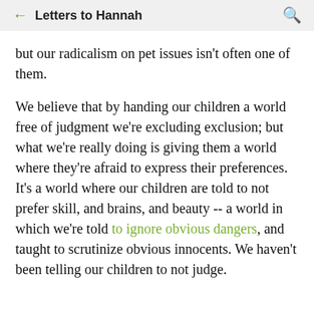← Letters to Hannah 🔍
but our radicalism on pet issues isn't often one of them.

We believe that by handing our children a world free of judgment we're excluding exclusion; but what we're really doing is giving them a world where they're afraid to express their preferences. It's a world where our children are told to not prefer skill, and brains, and beauty -- a world in which we're told to ignore obvious dangers, and taught to scrutinize obvious innocents. We haven't been telling our children to not judge.